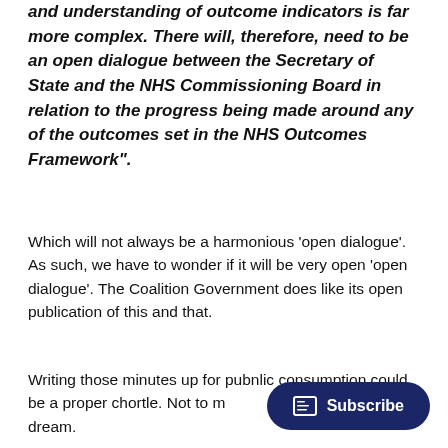and understanding of outcome indicators is far more complex. There will, therefore, need to be an open dialogue between the Secretary of State and the NHS Commissioning Board in relation to the progress being made around any of the outcomes set in the NHS Outcomes Framework".
Which will not always be a harmonious 'open dialogue'. As such, we have to wonder if it will be very open 'open dialogue'. The Coalition Government does like its open publication of this and that.
Writing those minutes up for pubnlic consumption could be a proper chortle. Not to m... Kremlinologist's dream.